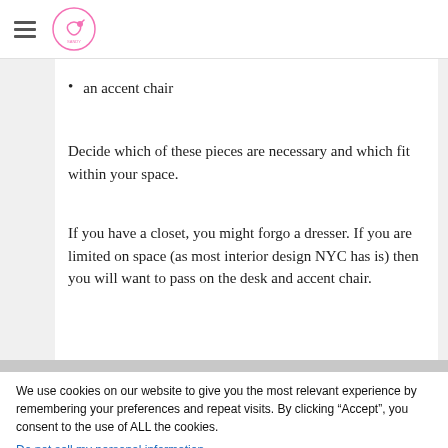[hamburger menu icon] [logo: pink french horn icon]
an accent chair
Decide which of these pieces are necessary and which fit within your space.
If you have a closet, you might forgo a dresser. If you are limited on space (as most interior design NYC has is) then you will want to pass on the desk and accent chair.
We use cookies on our website to give you the most relevant experience by remembering your preferences and repeat visits. By clicking “Accept”, you consent to the use of ALL the cookies.
Do not sell my personal information.
Cookie Settings   Accept